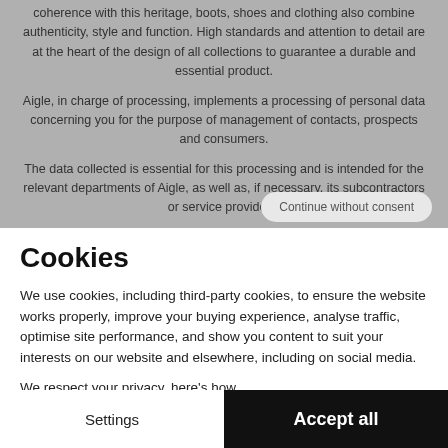coherence with this heritage, boots, shoes and clothing also combine authenticity, style and function. High standards and attention to detail are at the heart of the design of all collections to guarantee a durable and essential product.
Aigle, in charge of processing, implements a processing of personal data concerning you for the purpose of management of contacts, prospects and consumers.
The data collected is essential for this processing and is intended for the relevant departments of Aigle, as well as, if necessary, its subcontractors or service providers.
The length of time for which your data is stored is detailed in our privacy policy.
[Figure (screenshot): Continue without consent button (rounded pill button, light gray)]
Cookies
We use cookies, including third-party cookies, to ensure the website works properly, improve your buying experience, analyse traffic, optimise site performance, and show you content to suit your interests on our website and elsewhere, including on social media.
We respect your privacy, here's how.
Consents certified by axeptio
Settings
Accept all